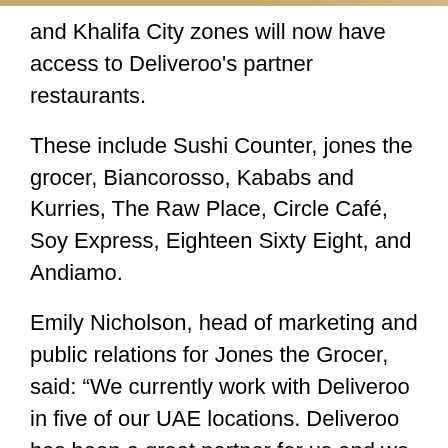and Khalifa City zones will now have access to Deliveroo's partner restaurants.
These include Sushi Counter, jones the grocer, Biancorosso, Kababs and Kurries, The Raw Place, Circle Café, Soy Express, Eighteen Sixty Eight, and Andiamo.
Emily Nicholson, head of marketing and public relations for Jones the Grocer, said: “We currently work with Deliveroo in five of our UAE locations. Deliveroo has been a great partner for us and we look forward to growing our business with deliveries in Khalifa City, Abu Dhabi with them.”
Deliveroo launched in Abu Dhabi in 2016 following its 2015 arrival in Dubai and has since grown steadily.
The company was first established in 2013 and has headquarters in London, over 1,000 employees, and presence spread across 130 cities in 12 countries.